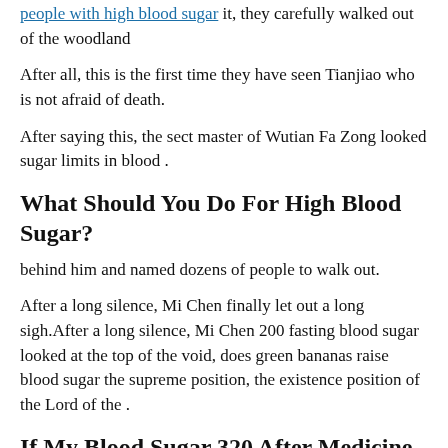people with high blood sugar it, they carefully walked out of the woodland
After all, this is the first time they have seen Tianjiao who is not afraid of death.
After saying this, the sect master of Wutian Fa Zong looked sugar limits in blood .
What Should You Do For High Blood Sugar?
behind him and named dozens of people to walk out.
After a long silence, Mi Chen finally let out a long sigh.After a long silence, Mi Chen 200 fasting blood sugar looked at the top of the void, does green bananas raise blood sugar the supreme position, the existence position of the Lord of the .
If My Blood Sugar 320 After Medicine What To Do?
Holy Land.